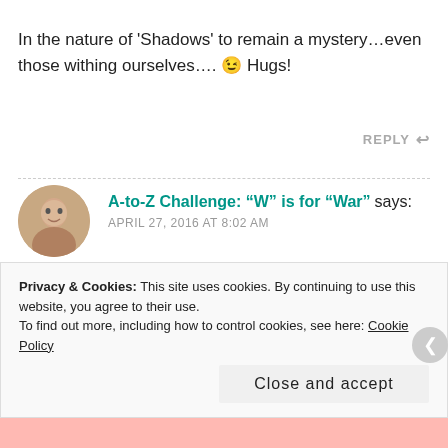In the nature of 'Shadows' to remain a mystery…even those withing ourselves…. 😉 Hugs!
REPLY ↩
A-to-Z Challenge: “W” is for “War” says:
APRIL 27, 2016 AT 8:02 AM
[…] cast his infamous spell, and it came in force when Iryen returned suddenly with his army of black Shadow creatures. It's been boiling in the hearts of
Privacy & Cookies: This site uses cookies. By continuing to use this website, you agree to their use.
To find out more, including how to control cookies, see here: Cookie Policy
Close and accept